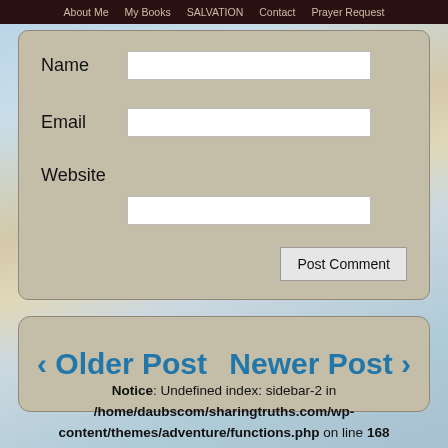About Me  My Books  SALVATION  Contact  Prayer Request
Name
Email
Website
Post Comment
‹ Older Post
Newer Post ›
Notice: Undefined index: sidebar-2 in /home/daubscom/sharingtruths.com/wp-content/themes/adventure/functions.php on line 168